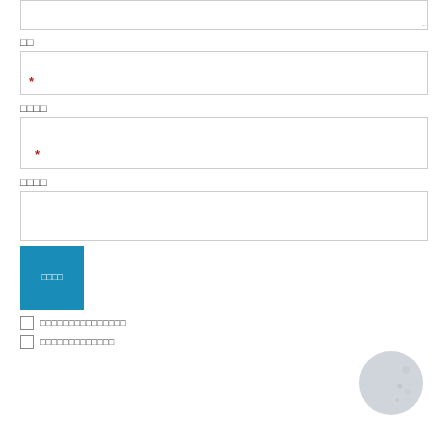□□
[Figure (screenshot): Text input field with red asterisk required marker]
□□□□
[Figure (screenshot): Text input field with red asterisk required marker]
□□□□
[Figure (screenshot): Text input field without required marker]
[Figure (screenshot): Blue submit button with Japanese text]
□□□□□□□□□□□□□□□
□□□□□□□□□□□□□
[Figure (illustration): Half moon / crescent moon icon in grey tones]